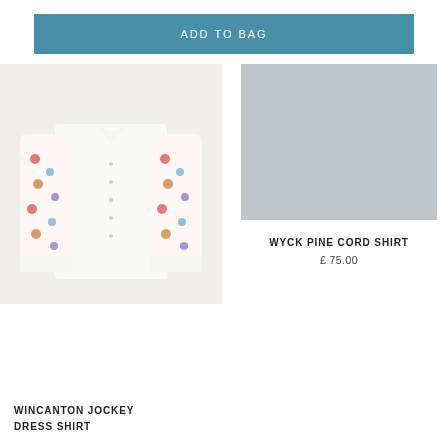ADD TO BAG
[Figure (photo): White dress shirt with colorful floral/spot print on sleeves and collar, laid flat against light background]
[Figure (photo): Grey placeholder rectangle for second product image]
WYCK PINE CORD SHIRT
£ 75.00
WINCANTON JOCKEY DRESS SHIRT